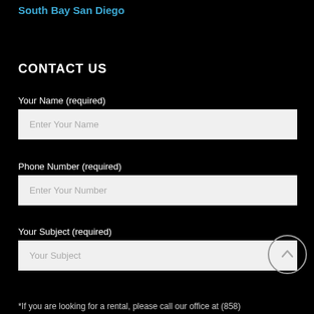South Bay San Diego
CONTACT US
Your Name (required)
Enter Your Name
Phone Number (required)
Enter Your Number
Your Subject (required)
Your Subject
*If you are looking for a rental, please call our office at (858)